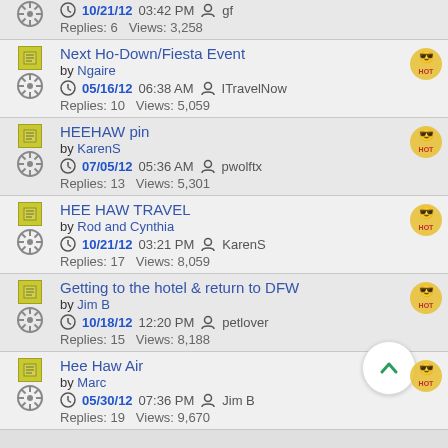10/21/12 03:42 PM | gf | Replies: 6 Views: 3,258
Next Ho-Down/Fiesta Event by Ngaire | 05/16/12 06:38 AM | ITravelNow | Replies: 10 Views: 5,059
HEEHAW pin by KarenS | 07/05/12 05:36 AM | pwolftx | Replies: 13 Views: 5,301
HEE HAW TRAVEL by Rod and Cynthia | 10/21/12 03:21 PM | KarenS | Replies: 17 Views: 8,059
Getting to the hotel & return to DFW by Jim B | 10/18/12 12:20 PM | petlover | Replies: 15 Views: 8,188
Hee Haw Air by Marc | 05/30/12 07:36 PM | Jim B | Replies: 19 Views: 9,670